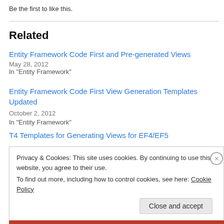Be the first to like this.
Related
Entity Framework Code First and Pre-generated Views
May 28, 2012
In "Entity Framework"
Entity Framework Code First View Generation Templates Updated
October 2, 2012
In "Entity Framework"
T4 Templates for Generating Views for EF4/EF5
Privacy & Cookies: This site uses cookies. By continuing to use this website, you agree to their use.
To find out more, including how to control cookies, see here: Cookie Policy
Close and accept